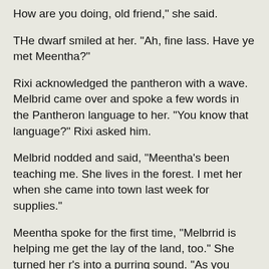How are you doing, old friend," she said.
THe dwarf smiled at her. "Ah, fine lass. Have ye met Meentha?"
Rixi acknowledged the pantheron with a wave. Melbrid came over and spoke a few words in the Pantheron language to her. "You know that language?" Rixi asked him.
Melbrid nodded and said, "Meentha's been teaching me. She lives in the forest. I met her when she came into town last week for supplies."
Meentha spoke for the first time, "Melbrrid is helping me get the lay of the land, too." She turned her r's into a purring sound. "As you know, my people do not often trravel farr frrom ourr homeland. Howeverr, I rrecieved a vision quest that told me that I was needed in Telquirrk."
Rixi scrunched up her face in confusion. "A vision quest brought you here? What kind of god would play that kind of trick on you?"